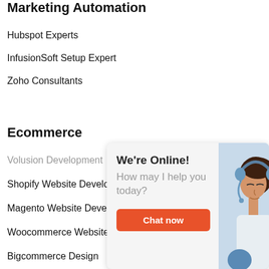Marketing Automation
Hubspot Experts
InfusionSoft Setup Expert
Zoho Consultants
Ecommerce
Volusion Development
Shopify Website Development
Magento Website Development
Woocommerce Website Development
Bigcommerce Design
[Figure (infographic): Live chat widget overlay showing a customer support representative wearing a headset. Contains 'We're Online!' heading, 'How may I help you today?' subtext, and an orange 'Chat now' button.]